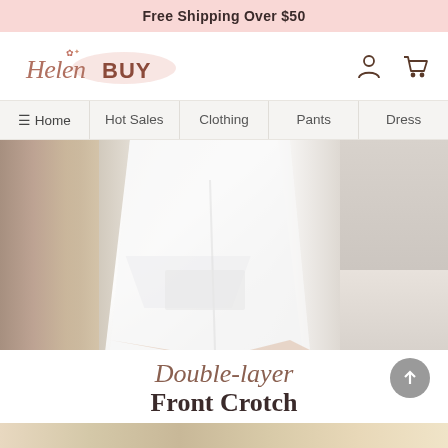Free Shipping Over $50
[Figure (logo): HelenBUY logo with decorative floral script]
🏠 Home
Hot Sales
Clothing
Pants
Dress
[Figure (photo): Close-up product photo of white double-layer short garment on model, with fur prop on left and neutral background panels on right]
Double-layer Front Crotch